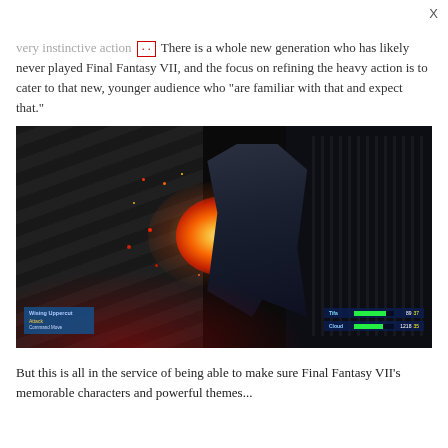X
very instinctive action [highlighted] There is a whole new generation who has likely never played Final Fantasy VII, and the focus on refining the heavy action is to cater to that new, younger audience who "are familiar with that and expect that."
[Figure (screenshot): Final Fantasy VII Remake gameplay screenshot showing an action combat scene with sparks/explosion effect between characters in a dark industrial setting. A HUD shows move names and character stats in the lower corners.]
But this is all in the service of being able to make sure Final Fantasy VII's memorable characters and powerful themes...